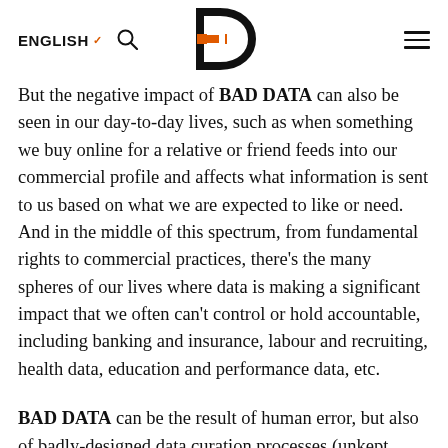ENGLISH  🔍  [Logo]  ≡
But the negative impact of BAD DATA can also be seen in our day-to-day lives, such as when something we buy online for a relative or friend feeds into our commercial profile and affects what information is sent to us based on what we are expected to like or need. And in the middle of this spectrum, from fundamental rights to commercial practices, there's the many spheres of our lives where data is making a significant impact that we often can't control or hold accountable, including banking and insurance, labour and recruiting, health data, education and performance data, etc.
BAD DATA can be the result of human error, but also of badly-designed data curation processes (unkept databases, sharing of data among different platforms